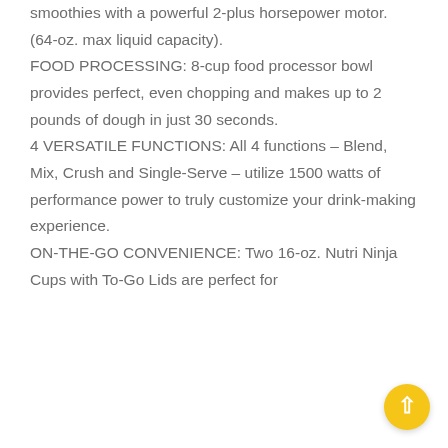smoothies with a powerful 2-plus horsepower motor. (64-oz. max liquid capacity). FOOD PROCESSING: 8-cup food processor bowl provides perfect, even chopping and makes up to 2 pounds of dough in just 30 seconds. 4 VERSATILE FUNCTIONS: All 4 functions – Blend, Mix, Crush and Single-Serve – utilize 1500 watts of performance power to truly customize your drink-making experience. ON-THE-GO CONVENIENCE: Two 16-oz. Nutri Ninja Cups with To-Go Lids are perfect for